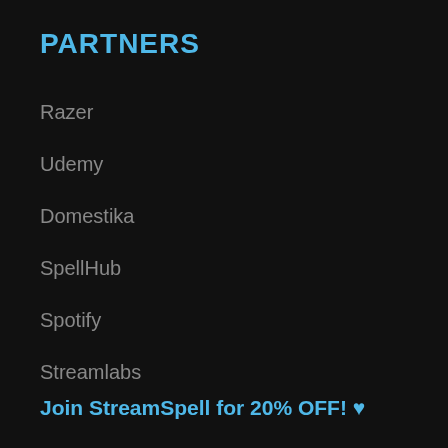PARTNERS
Razer
Udemy
Domestika
SpellHub
Spotify
Streamlabs
Join StreamSpell for 20% OFF! ♥